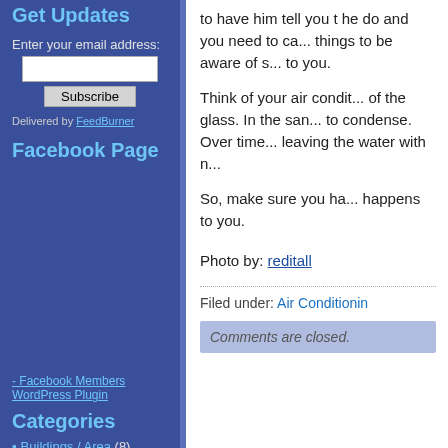Get Updates
Enter your email address:
Subscribe
Delivered by FeedBurner
Facebook Page
- Facebook Members WordPress Plugin
Categories
Buildings / Area (8)
Control Systems (4)
Energy Management /
to have him tell you t... do and you need to ca... things to be aware of s... to you.
Think of your air condit... of the glass. In the san... to condense. Over time... leaving the water with n...
So, make sure you ha... happens to you.
Photo by: reditall
Filed under: Air Conditionin...
Comments are closed.